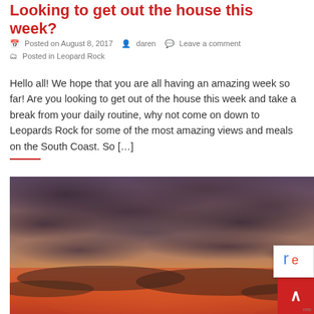Looking to get out the house this week?
📅 Posted on August 8, 2017   👤 daren   💬 Leave a comment
🗂 Posted in Leopard Rock
Hello all! We hope that you are all having an amazing week so far! Are you looking to get out of the house this week and take a break from your daily routine, why not come on down to Leopards Rock for some of the most amazing views and meals on the South Coast. So […]
[Figure (photo): A dramatic sunset sky with dark storm clouds illuminated by vivid orange, red, and pink light from below, creating a striking atmospheric scene over what appears to be a coastal or open landscape.]